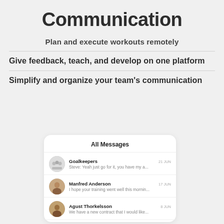Communication
Plan and execute workouts remotely
Give feedback, teach, and develop on one platform
Simplify and organize your team's communication
[Figure (screenshot): A messaging app interface card titled 'All Messages' showing three message threads: Goalkeepers (21 JUN) - 'Steve: Yeah just go for it, you have my a...', Manfred Anderson (17 JUN) - 'I hope your training went well this mornin...', Agust Thorkelsson (8 JUN) - 'We have a new contract that I would like...']